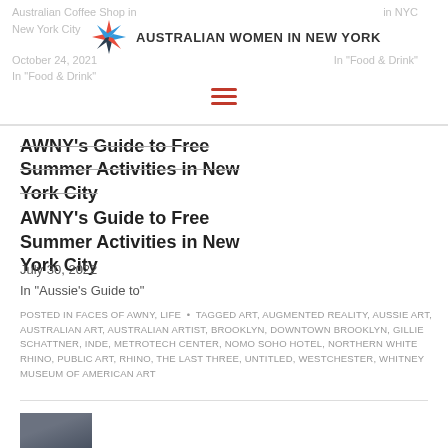Australian Coffee Shop in New York City | in NYC | October 24, 2021 | in Food & Drink | In "Food & Drink"
AWNY's Guide to Free Summer Activities in New York City
July 30, 2022
In "Aussie's Guide to"
POSTED IN FACES OF AWNY, LIFE • TAGGED ART, AUGMENTED REALITY, AUSSIE ART, AUSTRALIAN ART, AUSTRALIAN ARTIST, BROOKLYN, DOWNTOWN BROOKLYN, GILLIE SCHATTNER, INDE, METROTECH CENTER, NOMO SOHO HOTEL, NORTHERN WHITE RHINO, PUBLIC ART, RHINO, THE LAST THREE, UNTITLED, WESTCHESTER, WHITNEY MUSEUM OF AMERICAN ART
[Figure (photo): Author portrait photo thumbnail]